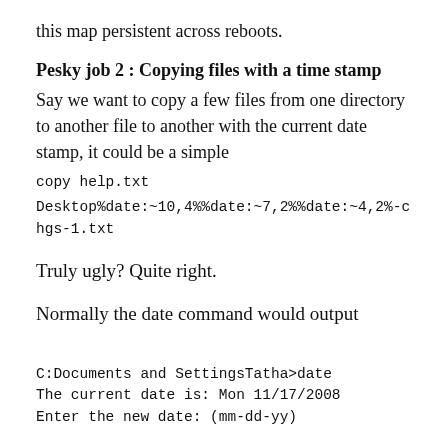this map persistent across reboots.
Pesky job 2 : Copying files with a time stamp
Say we want to copy a few files from one directory to another file to another with the current date stamp, it could be a simple
copy help.txt
Desktop%date:~10,4%%date:~7,2%%date:~4,2%-chgs-1.txt
Truly ugly? Quite right.
Normally the date command would output
C:Documents and SettingsTatha>date
The current date is: Mon 11/17/2008
Enter the new date: (mm-dd-yy)
To use the date to...